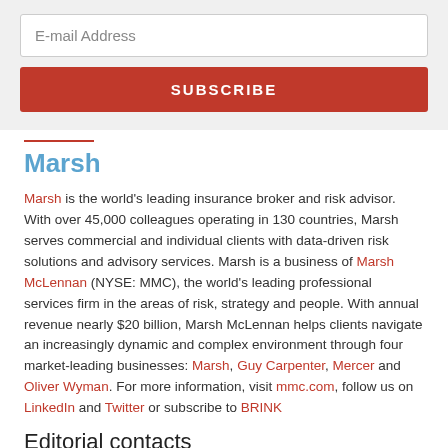[Figure (other): Email subscription form with text input field and red SUBSCRIBE button on grey background]
Marsh
Marsh is the world's leading insurance broker and risk advisor. With over 45,000 colleagues operating in 130 countries, Marsh serves commercial and individual clients with data-driven risk solutions and advisory services. Marsh is a business of Marsh McLennan (NYSE: MMC), the world's leading professional services firm in the areas of risk, strategy and people. With annual revenue nearly $20 billion, Marsh McLennan helps clients navigate an increasingly dynamic and complex environment through four market-leading businesses: Marsh, Guy Carpenter, Mercer and Oliver Wyman. For more information, visit mmc.com, follow us on LinkedIn and Twitter or subscribe to BRINK
Editorial contacts